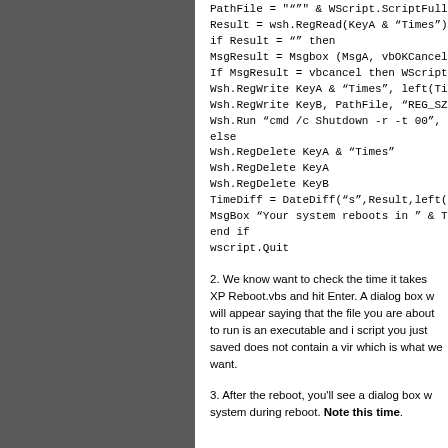PathFile = """" & WScript.ScriptFullName &
Result = wsh.RegRead(KeyA & "Times")
if Result = "" then
MsgResult = Msgbox (MsgA, vbOKCancel,
If MsgResult = vbcancel then WScript.Quit
Wsh.RegWrite KeyA & "Times", left(Time,8)
Wsh.RegWrite KeyB, PathFile, "REG_SZ"
Wsh.Run "cmd /c Shutdown -r -t 00", false,
else
Wsh.RegDelete KeyA & "Times"
Wsh.RegDelete KeyA
Wsh.RegDelete KeyB
TimeDiff = DateDiff("s",Result,left(Time,8))
MsgBox "Your system reboots in " & TimeD
end if
wscript.Quit
2. We know want to check the time it takes XP Reboot.vbs and hit Enter. A dialog box will appear saying that the file you are about to run is an executable and if you want to run it. The script you just saved does not contain a virus which is what we want.
3. After the reboot, you'll see a dialog box with the time it takes for the system during reboot. Note this time.